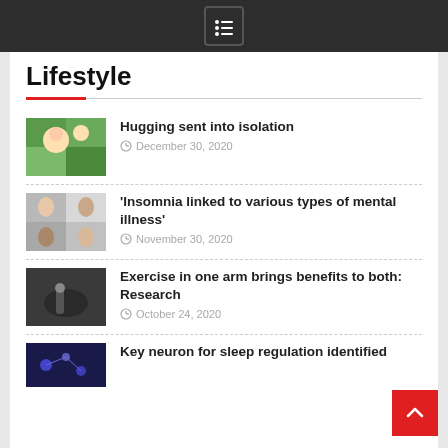Lifestyle
Hugging sent into isolation — December 30, 2020
'Insomnia linked to various types of mental illness' — November 30, 2020
Exercise in one arm brings benefits to both: Research — October 24, 2020
Key neuron for sleep regulation identified